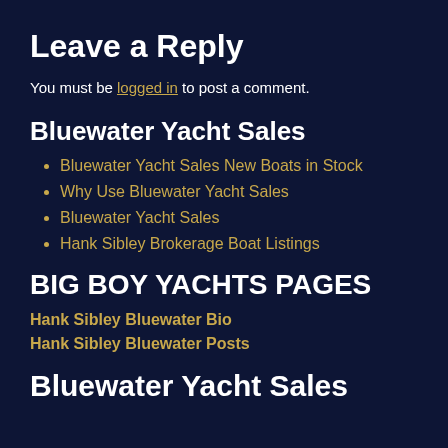Leave a Reply
You must be logged in to post a comment.
Bluewater Yacht Sales
Bluewater Yacht Sales New Boats in Stock
Why Use Bluewater Yacht Sales
Bluewater Yacht Sales
Hank Sibley Brokerage Boat Listings
BIG BOY YACHTS PAGES
Hank Sibley Bluewater Bio
Hank Sibley Bluewater Posts
Bluewater Yacht Sales